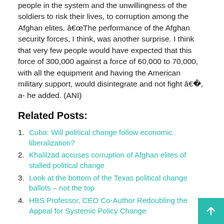people in the system and the unwillingness of the soldiers to risk their lives, to corruption among the Afghan elites. “The performance of the Afghan security forces, I think, was another surprise. I think that very few people would have expected that this force of 300,000 against a force of 60,000 to 70,000, with all the equipment and having the American military support, would disintegrate and not fight ”, a- he added. (ANI)
Related Posts:
Cuba: Will political change follow economic liberalization?
Khalilzad accuses corruption of Afghan elites of stalled political change
Look at the bottom of the Texas political change ballots – not the top
HBS Professor, CEO Co-Author Redoubling the Appeal for Systemic Policy Change